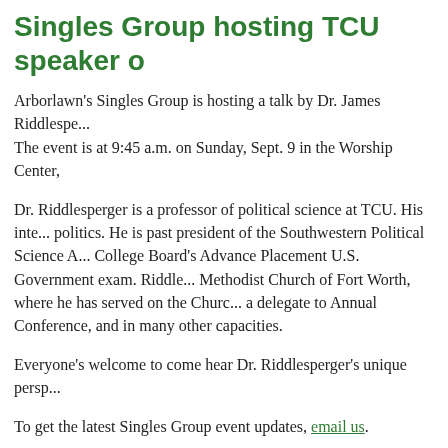Singles Group hosting TCU speaker o
Arborlawn's Singles Group is hosting a talk by Dr. James Riddlespe... The event is at 9:45 a.m. on Sunday, Sept. 9 in the Worship Center,
Dr. Riddlesperger is a professor of political science at TCU. His inte... politics. He is past president of the Southwestern Political Science A... College Board's Advance Placement U.S. Government exam. Riddle... Methodist Church of Fort Worth, where he has served on the Churc... a delegate to Annual Conference, and in many other capacities.
Everyone's welcome to come hear Dr. Riddlesperger's unique persp...
To get the latest Singles Group event updates, email us.
# # #
ArborlawnUMC.org